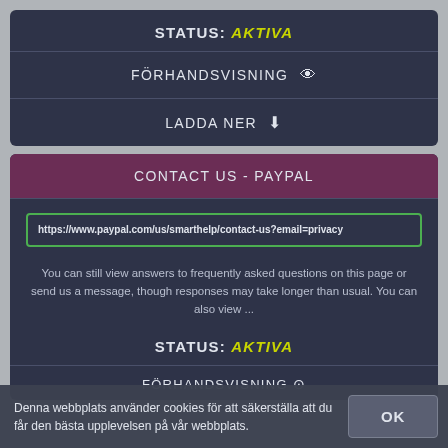STATUS: AKTIVA
FÖRHANDSVISNING
LADDA NER
CONTACT US - PAYPAL
https://www.paypal.com/us/smarthelp/contact-us?email=privacy
You can still view answers to frequently asked questions on this page or send us a message, though responses may take longer than usual. You can also view ...
STATUS: AKTIVA
FÖRHANDSVISNING
Denna webbplats använder cookies för att säkerställa att du får den bästa upplevelsen på vår webbplats.
OK